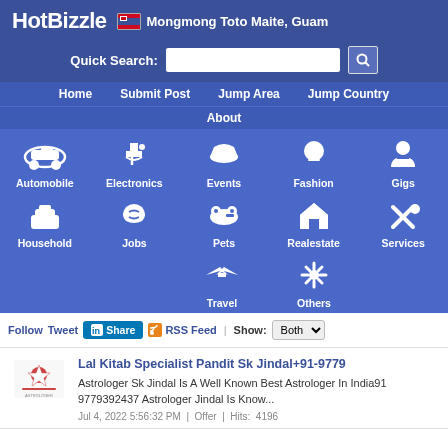HotBizzle — Mongmong Toto Maite, Guam
Quick Search:
Home | Submit Post | Jump Area | Jump Country | About
[Figure (infographic): Category navigation grid with icons: Automobile, Electronics, Events, Fashion, Gigs, Household, Jobs, Pets, Realestate, Services, Travel, Others]
Follow  Tweet  Share  RSS Feed  |  Show: Both
Lal Kitab Specialist Pandit Sk Jindal+91-9779
Astrologer Sk Jindal Is A Well Known Best Astrologer In India91 9779392437 Astrologer Jindal Is Know...
Jul 4, 2022 5:56:32 PM  |  Offer  |  Hits:  4196